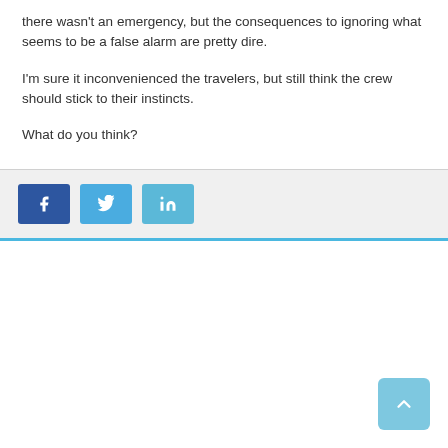there wasn't an emergency, but the consequences to ignoring what seems to be a false alarm are pretty dire.
I'm sure it inconvenienced the travelers, but still think the crew should stick to their instincts.
What do you think?
[Figure (infographic): Social share buttons: Facebook (dark blue), Twitter (medium blue), LinkedIn (light blue)]